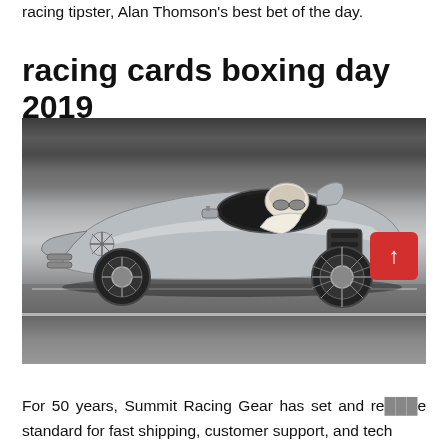racing tipster, Alan Thomson's best bet of the day.
racing cards boxing day 2019
[Figure (photo): A silver vintage Mercedes-Benz racing car with an open cockpit, driven by a helmeted driver with goggles, racing on a track. The car is low-slung and aerodynamic with a prominent three-pointed star hood ornament.]
For 50 years, Summit Racing Gear has set and re[...]e standard for fast shipping, customer support, and tech